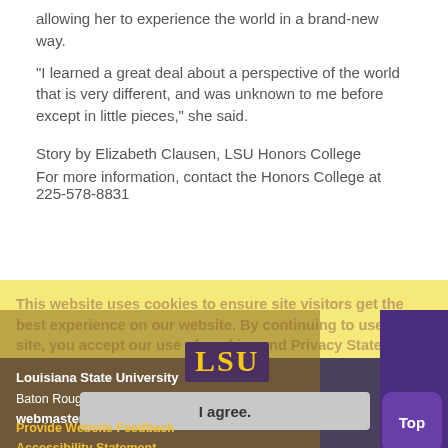allowing her to experience the world in a brand-new way.
"I learned a great deal about a perspective of the world that is very different, and was unknown to me before except in little pieces," she said.
Story by Elizabeth Clausen, LSU Honors College
For more information, contact the Honors College at 225-578-8831
This website uses cookies to ensure site visitors get the best experience on our website. By continuing to use this site, you accept our use of cookies and Privacy Statement. To learn more, please visit LSU Privacy Statement.
Louisiana State University
Baton Rouge, Louisiana 70803
webmaster@lsu.edu
I agree.
Top
Provide Website Feedback
Accessibility Statement